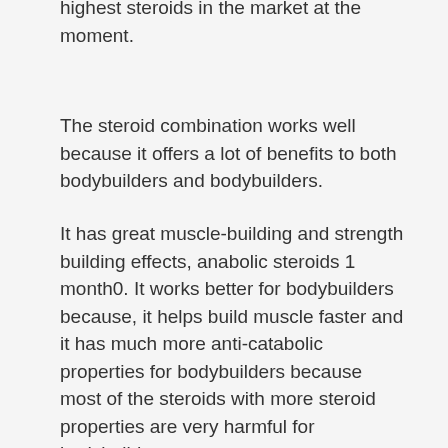highest steroids in the market at the moment.
The steroid combination works well because it offers a lot of benefits to both bodybuilders and bodybuilders.
It has great muscle-building and strength building effects, anabolic steroids 1 month0. It works better for bodybuilders because, it helps build muscle faster and it has much more anti-catabolic properties for bodybuilders because most of the steroids with more steroid properties are very harmful for bodybuilders.
The combination of two of these drugs, namely IGF-1 and Growth Hormone, gives you the best results for both bodybuilders and bodybuilders, anabolic steroids 1 month1.